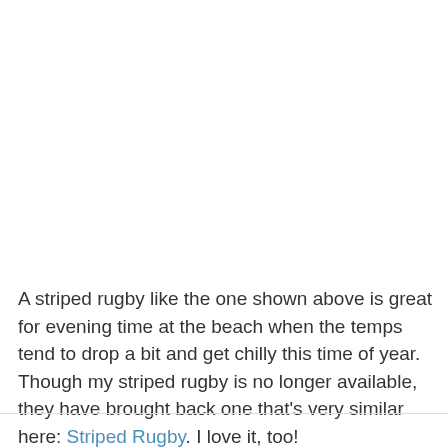A striped rugby like the one shown above is great for evening time at the beach when the temps tend to drop a bit and get chilly this time of year. Though my striped rugby is no longer available, they have brought back one that's very similar here: Striped Rugby. I love it, too!